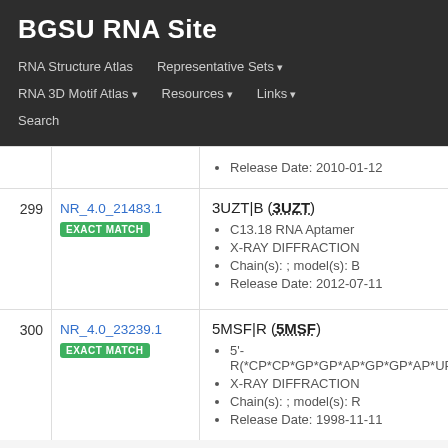BGSU RNA Site
RNA Structure Atlas | Representative Sets ▾ | RNA 3D Motif Atlas ▾ | Resources ▾ | Links ▾ | Search
Release Date: 2010-01-12
299  NR_4.0_21483.1  EXACT MATCH  3UZT|B (3UZT)
• C13.18 RNA Aptamer
• X-RAY DIFFRACTION
• Chain(s): ; model(s): B
• Release Date: 2012-07-11
300  NR_4.0_23239.1  EXACT MATCH  5MSF|R (5MSF)
• 5'-R(*CP*CP*GP*GP*AP*GP*GP*AP*UP*CP
• X-RAY DIFFRACTION
• Chain(s): ; model(s): R
• Release Date: 1998-11-11